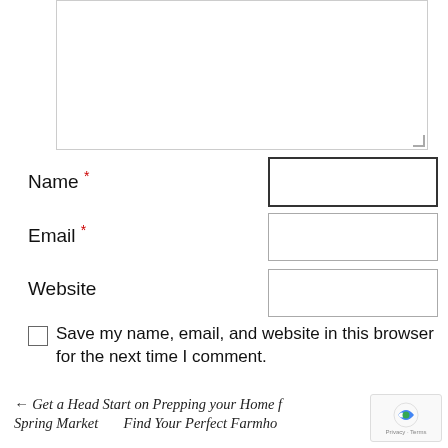[Figure (screenshot): Textarea input box (comment field), partially visible at top of page]
Name *
Email *
Website
Save my name, email, and website in this browser for the next time I comment.
Post Comment
← Get a Head Start on Prepping your Home for Spring Market      Find Your Perfect Farmho…